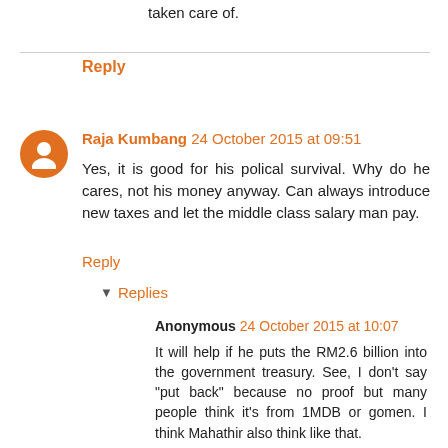taken care of.
Reply
Raja Kumbang  24 October 2015 at 09:51
Yes, it is good for his polical survival. Why do he cares, not his money anyway. Can always introduce new taxes and let the middle class salary man pay.
Reply
▾ Replies
Anonymous  24 October 2015 at 10:07
It will help if he puts the RM2.6 billion into the government treasury. See, I don't say "put back" because no proof but many people think it's from 1MDB or gomen. I think Mahathir also think like that.